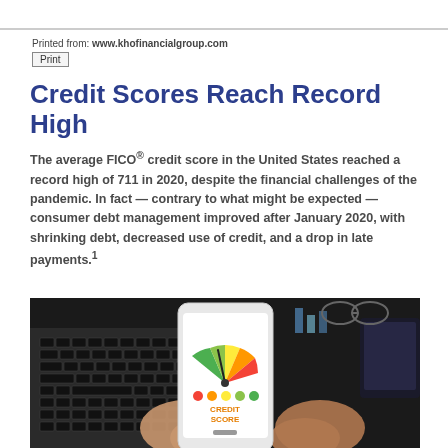Printed from: www.khofinancialgroup.com
Print
Credit Scores Reach Record High
The average FICO® credit score in the United States reached a record high of 711 in 2020, despite the financial challenges of the pandemic. In fact — contrary to what might be expected — consumer debt management improved after January 2020, with shrinking debt, decreased use of credit, and a drop in late payments.¹
[Figure (photo): Person holding a smartphone displaying a credit score gauge meter with green, yellow, orange, and red sections, with text 'CREDIT SCORE' on the phone screen. A laptop keyboard and tablet are visible in the background.]